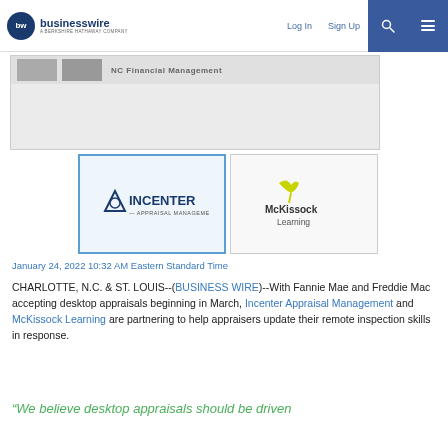businesswire — A BERKSHIRE HATHAWAY COMPANY | Log In | Sign Up
[Figure (logo): Banner image area with company logos and title text partially visible]
[Figure (logo): Incenter Appraisal Management logo — blue triangle with circle, INCENTER text]
[Figure (logo): McKissock Learning logo — yellow/green bird icon with McKissock Learning text]
January 24, 2022 10:32 AM Eastern Standard Time
CHARLOTTE, N.C. & ST. LOUIS--(BUSINESS WIRE)--With Fannie Mae and Freddie Mac accepting desktop appraisals beginning in March, Incenter Appraisal Management and McKissock Learning are partnering to help appraisers update their remote inspection skills in response.
“We believe desktop appraisals should be driven